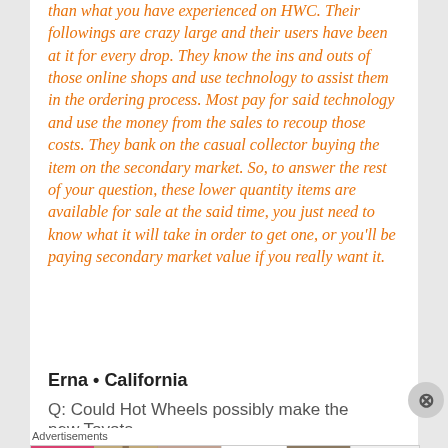than what you have experienced on HWC. Their followings are crazy large and their users have been at it for every drop. They know the ins and outs of those online shops and use technology to assist them in the ordering process. Most pay for said technology and use the money from the sales to recoup those costs. They bank on the casual collector buying the item on the secondary market. So, to answer the rest of your question, these lower quantity items are available for sale at the said time, you just need to know what it will take in order to get one, or you'll be paying secondary market value if you really want it.
Erna • California
Q: Could Hot Wheels possibly make the new Toyota
[Figure (screenshot): Ulta Beauty advertisement banner showing close-up photos of lips with pink lipstick, a makeup brush, an eye with eyeshadow, the Ulta Beauty logo, and another eye with dramatic eye makeup, with a 'SHOP NOW' button on the right.]